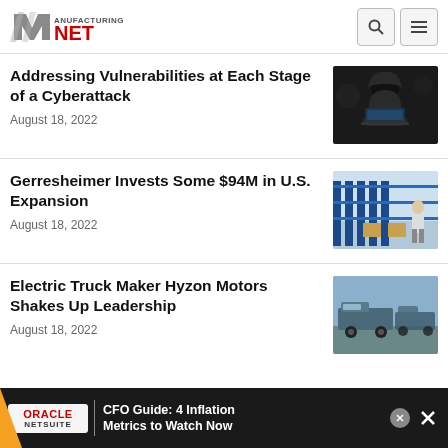Manufacturing.NET
Addressing Vulnerabilities at Each Stage of a Cyberattack
August 18, 2022
[Figure (photo): Person in dark hoodie sitting at a laptop in a dark room]
Gerresheimer Invests Some $94M in U.S. Expansion
August 18, 2022
[Figure (photo): Manufacturing facility with blue machinery and worker]
Electric Truck Maker Hyzon Motors Shakes Up Leadership
August 18, 2022
[Figure (photo): Trucks or industrial vehicles outdoors]
ORACLE NETSUITE | CFO Guide: 4 Inflation Metrics to Watch Now